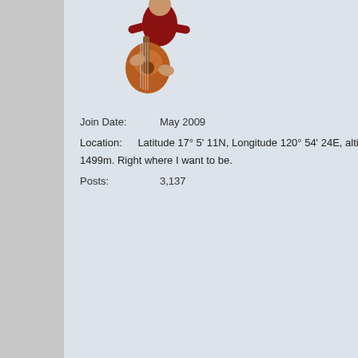[Figure (illustration): Avatar image of a person in red outfit playing a guitar]
Join Date: May 2009
Location: Latitude 17° 5' 11N, Longitude 120° 54' 24E, altitude 1499m. Right where I want to be.
Posts: 3,137
dropping 4 x500lb bomb... specific what the US hel...
The Philippine Air Force does n... strikes or employing guided wea... substantial upgrade from what t... as reports suggest direct hits or...
Local speculation along two line...
1. The US provided targeting in... equipment and training to build ...
2. The US did it and said they d...
Take your pick, not like we'll kno...
Should be noted that Marwan is... found.
"The whole aim of practical poli... (and hence clamorous to be led... endless series of hobgoblins, al...